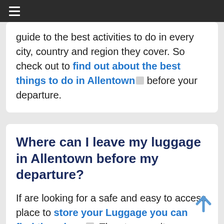≡ (hamburger menu)
guide to the best activities to do in every city, country and region they cover. So check out to find out about the best things to do in Allentown before your departure.
Where can I leave my luggage in Allentown before my departure?
If are looking for a safe and easy to access place to store your Luggage you can find them here. The storage sites are located inside existing businesses, hotels, retail outlets, safes, and many more. All are vetted